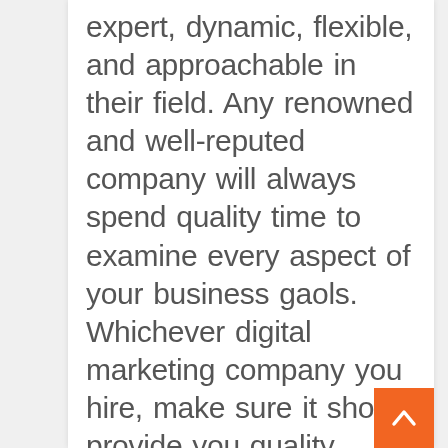expert, dynamic, flexible, and approachable in their field. Any renowned and well-reputed company will always spend quality time to examine every aspect of your business gaols. Whichever digital marketing company you hire, make sure it should provide you quality services and guarantee of the work. An agency should aim to produce high-ROI and bring sustainable revenue growth to your business.